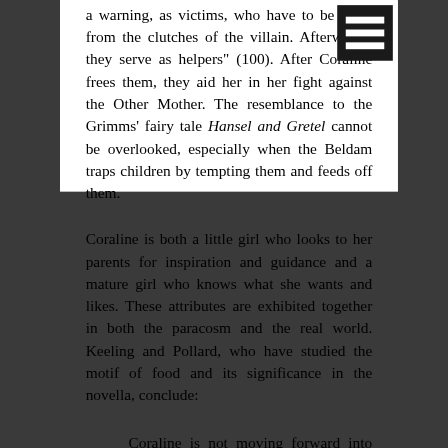a warning, as victims, who have to be freed from the clutches of the villain. Afterwards, they serve as helpers" (100). After Coraline frees them, they aid her in her fight against the Other Mother. The resemblance to the Grimms' fairy tale Hansel and Gretel cannot be overlooked, especially when the Beldam traps children by tempting them and feeds off them.
Coraline is both a little girl who looks to her parents for inspiration and guidance and a mature girl who knows what she wants and likes. These attributes are exhibited together in both the paracosm and the real world. Keeling and Pollard, who have studied the motif of food and its significance in the novella, conclude:
Coraline is not moving forward into adolescent sexuality; the novel deals with her apprehension over living in a new house and attending a new school. Her response is to regress temporarily into the oral stage, not leap toward adulthood. Given how emotionally